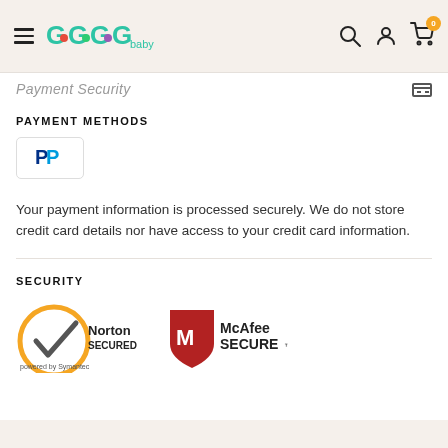GoGoGo baby — navigation header with hamburger menu, search, account, and cart icons
Payment Security
PAYMENT METHODS
[Figure (logo): PayPal logo in a bordered box]
Your payment information is processed securely. We do not store credit card details nor have access to your credit card information.
SECURITY
[Figure (logo): Norton SECURED powered by Symantec logo and McAfee SECURE logo side by side]